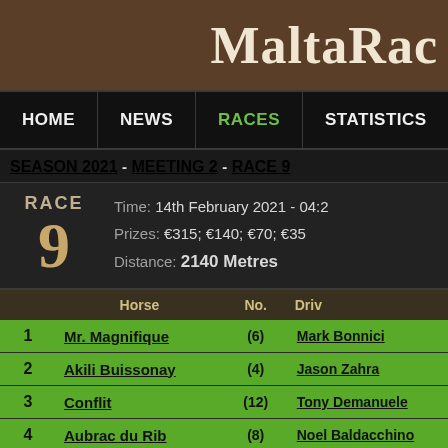MaltaRac
HOME  NEWS  RACES  STATISTICS  CALENDAR
SEASON 2021 - MEETING 2 - RACE 9
RACE 9
Time: 14th February 2021 - 04:2
Prizes: €315; €140; €70; €35
Distance: 2140 Metres
|  | Horse | No. | Driver |
| --- | --- | --- | --- |
| 1 | Mr. Magnifique | (6) | Mark Bonnici |
| 2 | Akili Buissonay | (4) | Jason Zahra |
| 3 | Conflit | (12) | Tony Demanuele |
| 4 | Aubrac du Rib | (8) | Noel Baldacchino |
| 5 | Coucou Mon Neveu | (7) | Jesmar Gafa |
| 6 | Eliva d'Eriguy | (11) | Paul Galea |